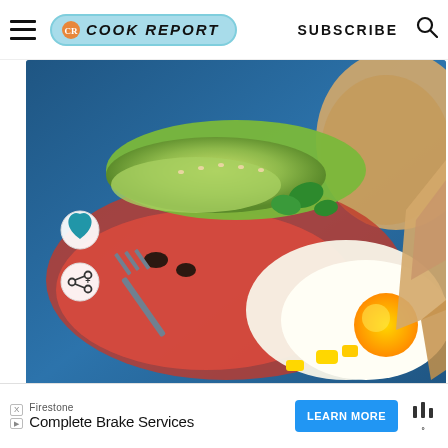THE COOK REPORT — SUBSCRIBE
[Figure (photo): Close-up food photo showing huevos rancheros with avocado slices, fried egg with runny yolk, salsa, black beans, and tortilla chips on a blue plate. A fork is cutting into the egg. Heart and share action buttons visible on the left side.]
WHAT'S NEXT → Chorizo Huevos...
[Figure (photo): Small circular thumbnail of chorizo huevos rancheros dish]
Firestone — Complete Brake Services — LEARN MORE